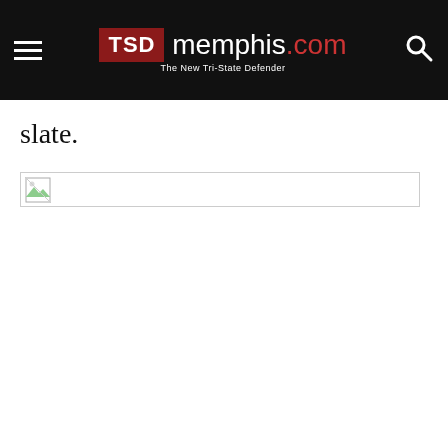TSD memphis.com — The New Tri-State Defender
slate.
[Figure (other): A broken/missing image placeholder shown as a bordered rectangular box with a small broken image icon in the top-left corner.]